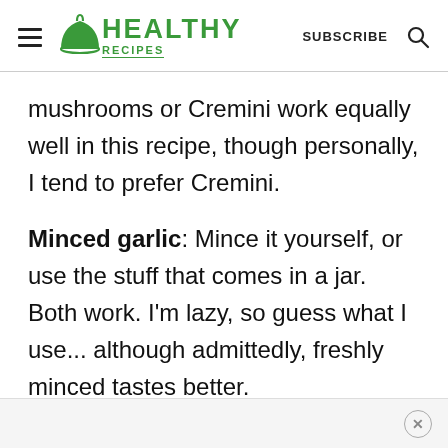HEALTHY RECIPES | SUBSCRIBE
mushrooms or Cremini work equally well in this recipe, though personally, I tend to prefer Cremini.
Minced garlic: Mince it yourself, or use the stuff that comes in a jar. Both work. I'm lazy, so guess what I use... although admittedly, freshly minced tastes better.